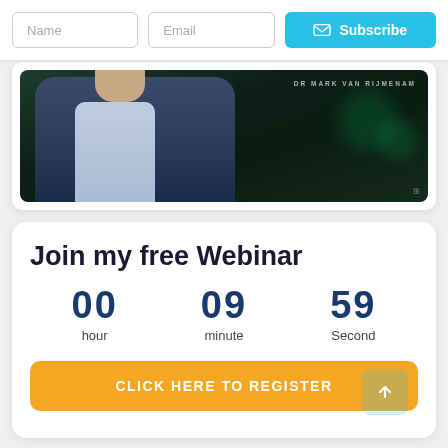Name
Email
Subscribe
[Figure (photo): Photo of Dr Mark van Rijmenam presenting on stage with dark green background]
Join my free Webinar
00 hour
09 minute
59 Second
CLICK HERE TO REGISTER